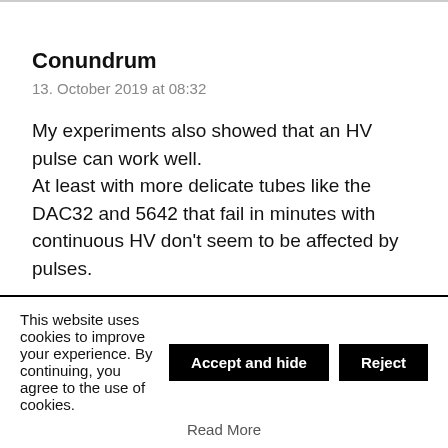Conundrum
13. October 2019 at 08:32
My experiments also showed that an HV pulse can work well.
At least with more delicate tubes like the DAC32 and 5642 that fail in minutes with continuous HV don't seem to be affected by pulses.
Used a gas igniter that worked from 9V DC, the lower voltage sort don't seem to work though someone found that the old "zapper" style gas lighters work if the
This website uses cookies to improve your experience. By continuing, you agree to the use of cookies.
Accept and hide
Reject
Read More